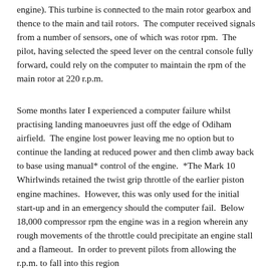engine). This turbine is connected to the main rotor gearbox and thence to the main and tail rotors. The computer received signals from a number of sensors, one of which was rotor rpm. The pilot, having selected the speed lever on the central console fully forward, could rely on the computer to maintain the rpm of the main rotor at 220 r.p.m.
Some months later I experienced a computer failure whilst practising landing manoeuvres just off the edge of Odiham airfield. The engine lost power leaving me no option but to continue the landing at reduced power and then climb away back to base using manual* control of the engine. *The Mark 10 Whirlwinds retained the twist grip throttle of the earlier piston engine machines. However, this was only used for the initial start-up and in an emergency should the computer fail. Below 18,000 compressor rpm the engine was in a region wherein any rough movements of the throttle could precipitate an engine stall and a flameout. In order to prevent pilots from allowing the r.p.m. to fall into this region